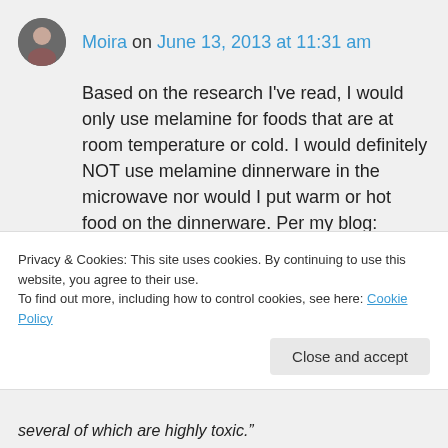Moira on June 13, 2013 at 11:31 am
Based on the research I've read, I would only use melamine for foods that are at room temperature or cold. I would definitely NOT use melamine dinnerware in the microwave nor would I put warm or hot food on the dinnerware. Per my blog: “Melamine resin is fixed and unchanging unless it is exposed to excessive heat,
Privacy & Cookies: This site uses cookies. By continuing to use this website, you agree to their use.
To find out more, including how to control cookies, see here: Cookie Policy
Close and accept
several of which are highly toxic.”